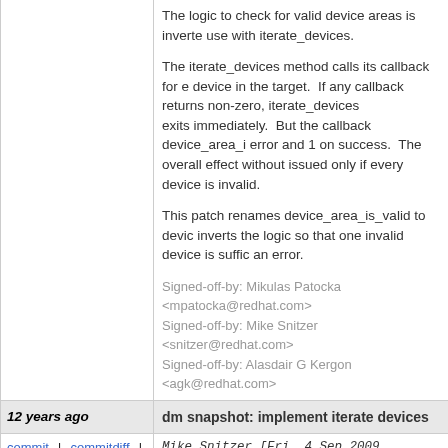The logic to check for valid device areas is inverted use with iterate_devices.

The iterate_devices method calls its callback for every device in the target. If any callback returns non-zero, iterate_devices exits immediately. But the callback device_area_is_valid returns 0 on error and 1 on success. The overall effect without the fix: error is issued only if every device is invalid.

This patch renames device_area_is_valid to device_area_is_invalid and inverts the logic so that one invalid device is sufficient to return an error.
Signed-off-by: Mikulas Patocka <mpatocka@redhat.com>
Signed-off-by: Mike Snitzer <snitzer@redhat.com>
Signed-off-by: Alasdair G Kergon <agk@redhat.com>
12 years ago	dm snapshot: implement iterate devices
commit | commitdiff | tree
+0000 (20:40 +0100)]	Mike Snitzer [Fri, 4 Sep 2009 19:40:19
dm snapshot: implement iterate devices

Implement the .iterate_devices for the origin and s dm-